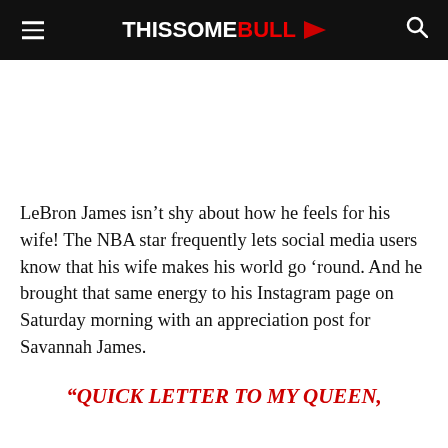THISSOME BULL
LeBron James isn't shy about how he feels for his wife! The NBA star frequently lets social media users know that his wife makes his world go 'round. And he brought that same energy to his Instagram page on Saturday morning with an appreciation post for Savannah James.
“QUICK LETTER TO MY QUEEN,